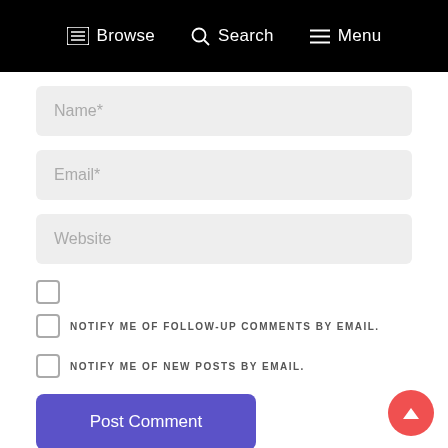Browse  Search  Menu
Name*
Email*
Website
NOTIFY ME OF FOLLOW-UP COMMENTS BY EMAIL.
NOTIFY ME OF NEW POSTS BY EMAIL.
Post Comment